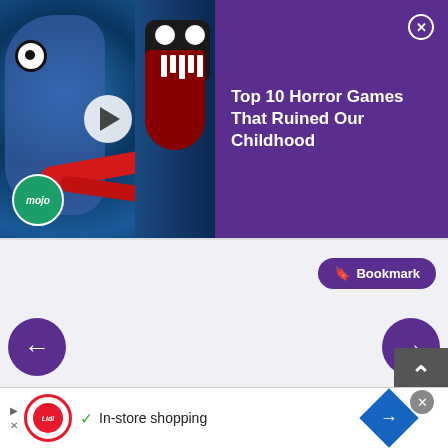[Figure (screenshot): Video ad thumbnail showing Huggy Wuggy monster character with WatchMojo logo, for 'Top 10 Horror Games That Ruined Our Childhood' video]
Top 10 Horror Games That Ruined Our Childhood
🔖 Bookmark
[Figure (screenshot): Navigation arrow left (back) button in purple rounded rectangle]
[Figure (screenshot): Navigation arrow right (forward) button in purple rounded rectangle]
History's Strongest Senior Brother
[Figure (screenshot): Back to top button (caret/chevron up) in dark grey square]
Comments
NO SPOILERS
[Figure (screenshot): Bottom advertisement banner: Lidl logo, checkmark, 'In-store shopping', navigation diamond icon, close button]